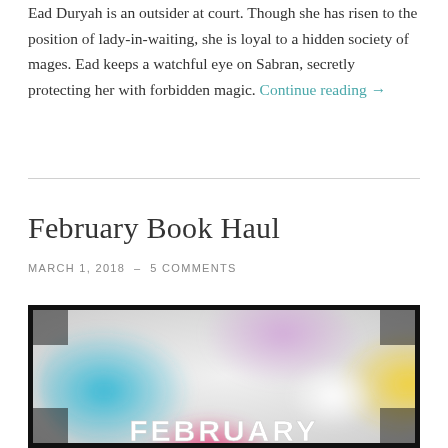Ead Duryah is an outsider at court. Though she has risen to the position of lady-in-waiting, she is loyal to a hidden society of mages. Ead keeps a watchful eye on Sabran, secretly protecting her with forbidden magic. Continue reading →
February Book Haul
MARCH 1, 2018  -  5 COMMENTS
[Figure (photo): Colorful ink smoke photograph with the word FEBRUARY in white bold letters at the bottom, framed with a dark border.]